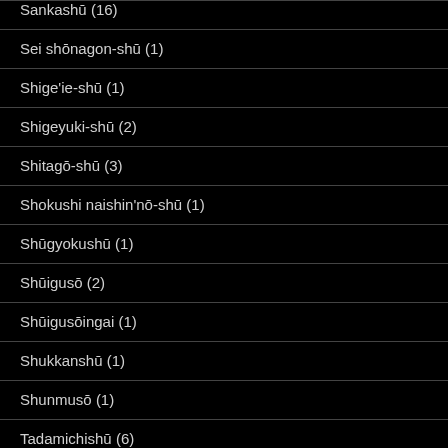Sankashū (16)
Sei shōnagon-shū (1)
Shige'ie-shū (1)
Shigeyuki-shū (2)
Shitagō-shū (3)
Shokushi naishin'nō-shū (1)
Shūgyokushū (1)
Shūigusō (2)
Shūigusōingai (1)
Shukkanshū (1)
Shunmusō (1)
Tadamichishū (6)
Tadamine-shū (1)